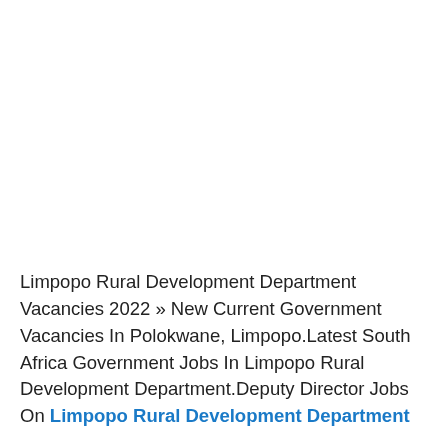Limpopo Rural Development Department Vacancies 2022 » New Current Government Vacancies In Polokwane, Limpopo.Latest South Africa Government Jobs In Limpopo Rural Development Department.Deputy Director Jobs On Limpopo Rural Development Department